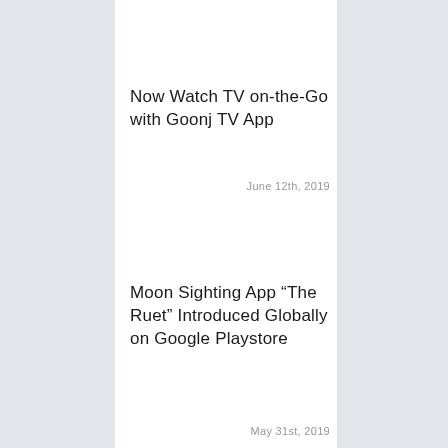Now Watch TV on-the-Go with Goonj TV App
June 12th, 2019
Moon Sighting App “The Ruet” Introduced Globally on Google Playstore
May 31st, 2019